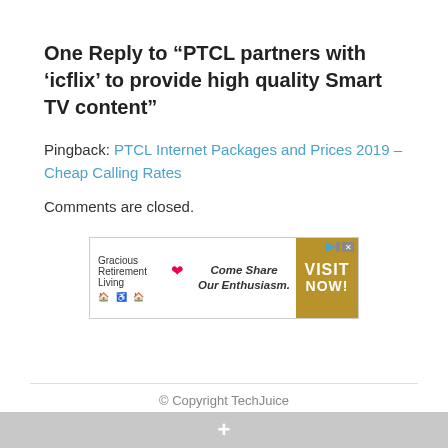One Reply to “PTCL partners with ‘icflix’ to provide high quality Smart TV content”
Pingback: PTCL Internet Packages and Prices 2019 – Cheap Calling Rates
Comments are closed.
[Figure (other): Advertisement banner for Gracious Retirement Living with tagline 'Come Share Our Enthusiasm.' and a golden 'VISIT NOW!' call-to-action button]
© Copyright TechJuice